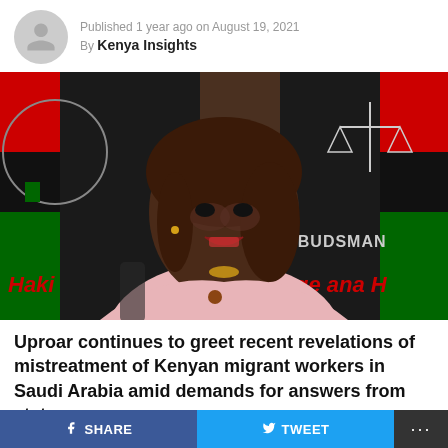Published 1 year ago on August 19, 2021
By Kenya Insights
[Figure (photo): A woman in a pink blazer seated and speaking at a press conference in front of a banner with Kenyan flag colors and the word 'OMBUDSMAN'. Text on banner reads 'Haki' on the left and 'ge ana H' on the right.]
Uproar continues to greet recent revelations of mistreatment of Kenyan migrant workers in Saudi Arabia amid demands for answers from state
SHARE   TWEET   ...